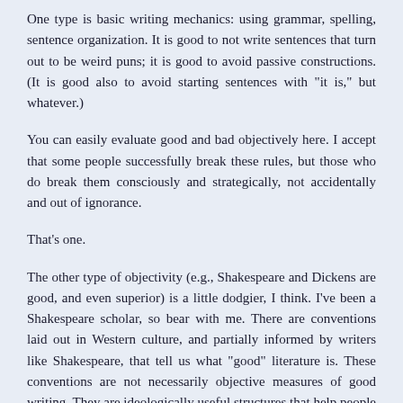One type is basic writing mechanics: using grammar, spelling, sentence organization. It is good to not write sentences that turn out to be weird puns; it is good to avoid passive constructions. (It is good also to avoid starting sentences with "it is," but whatever.)
You can easily evaluate good and bad objectively here. I accept that some people successfully break these rules, but those who do break them consciously and strategically, not accidentally and out of ignorance.
That's one.
The other type of objectivity (e.g., Shakespeare and Dickens are good, and even superior) is a little dodgier, I think. I've been a Shakespeare scholar, so bear with me. There are conventions laid out in Western culture, and partially informed by writers like Shakespeare, that tell us what "good" literature is. These conventions are not necessarily objective measures of good writing. They are ideologically useful structures that help people harmonize with their culture. (E.g., Western narrative tends to follow a linear pattern - beginning, middle, end - rather than a cyclical pattern. This three-part structure, it could be argued,